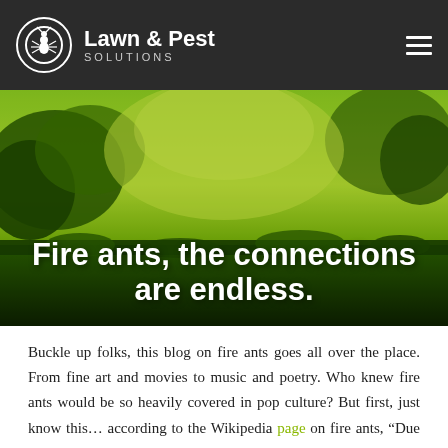Lawn & Pest SOLUTIONS
[Figure (photo): Green lawn and trees hero image with overlaid bold white text reading 'Fire ants, the connections are endless.']
Fire ants, the connections are endless.
Buckle up folks, this blog on fire ants goes all over the place. From fine art and movies to music and poetry. Who knew fire ants would be so heavily covered in pop culture? But first, just know this… according to the Wikipedia page on fire ants, “Due to its notoriety and